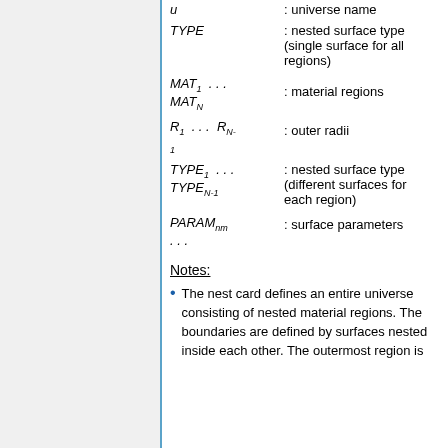u : universe name
TYPE : nested surface type (single surface for all regions)
MAT1 ... MATN : material regions
R1 ... RN-1 : outer radii
TYPE1 ... TYPEN-1 : nested surface type (different surfaces for each region)
PARAMnm ... : surface parameters
Notes:
The nest card defines an entire universe consisting of nested material regions. The boundaries are defined by surfaces nested inside each other. The outermost region is